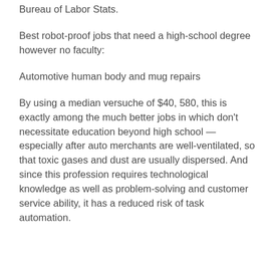Bureau of Labor Stats.
Best robot-proof jobs that need a high-school degree however no faculty:
Automotive human body and mug repairs
By using a median versuche of $40, 580, this is exactly among the much better jobs in which don't necessitate education beyond high school — especially after auto merchants are well-ventilated, so that toxic gases and dust are usually dispersed. And since this profession requires technological knowledge as well as problem-solving and customer service ability, it has a reduced risk of task automation.